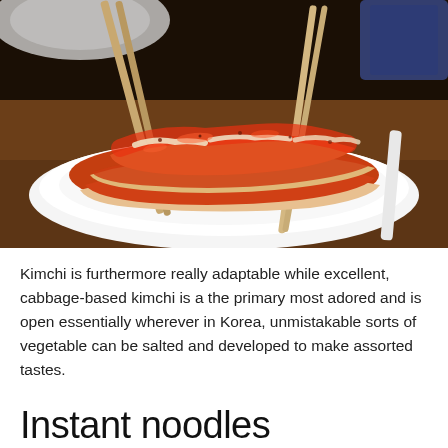[Figure (photo): A close-up photo of kimchi (fermented cabbage) served on a white plate with chopsticks, showing the red-orange spicy sauce coating the layered cabbage and green onion pieces. The background is dark brown/black with blurred tableware.]
Kimchi is furthermore really adaptable while excellent, cabbage-based kimchi is a the primary most adored and is open essentially wherever in Korea, unmistakable sorts of vegetable can be salted and developed to make assorted tastes.
Instant noodles